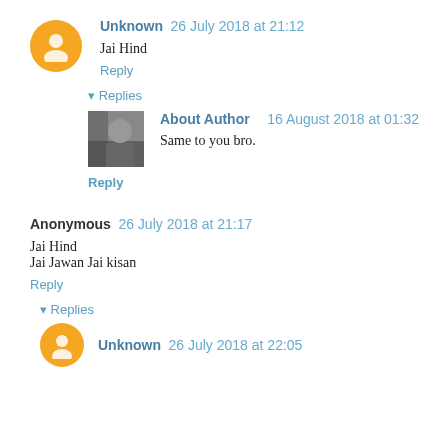Unknown 26 July 2018 at 21:12 — Jai Hind — Reply
About Author 16 August 2018 at 01:32 — Same to you bro. — Reply
Anonymous 26 July 2018 at 21:17 — Jai Hind
Jai Jawan Jai kisan — Reply
Unknown 26 July 2018 at 22:05